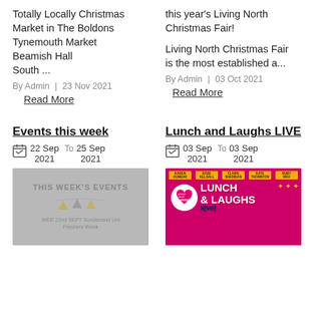Totally Locally Christmas Market in The Boldons
Tynemouth Market
Beamish Hall
South ...
By Admin | 23 Nov 2021
Read More
this year's Living North Christmas Fair!
Living North Christmas Fair is the most established a...
By Admin | 03 Oct 2021
Read More
Events this week
22 Sep 2021 To 25 Sep 2021
[Figure (photo): Grey promotional image with text 'THIS WEEKS EVENTS' and bunting decoration, and text 'WED 22nd SEPT Sunderland Uni Freshers Week']
Lunch and Laughs LIVE
03 Sep 2021 To 03 Sep 2021
[Figure (photo): Pink glittery promotional image for 'Lunch & Laughs Live' event with celebrity names at top and heart logo]